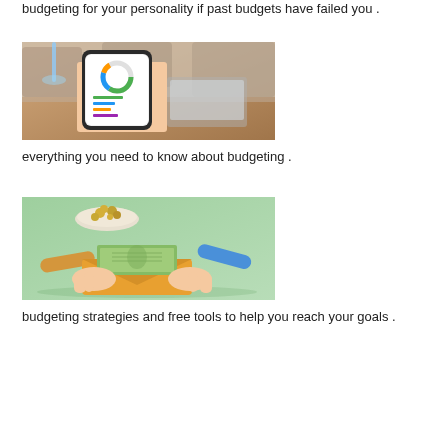budgeting for your personality if past budgets have failed you .
[Figure (photo): Person holding a smartphone displaying a budgeting or financial app with a circular chart, sitting at a wooden table in a cafe setting.]
everything you need to know about budgeting .
[Figure (photo): Hands holding an orange envelope with cash bills and coins on a green surface, with rolled coin wrappers nearby.]
budgeting strategies and free tools to help you reach your goals .